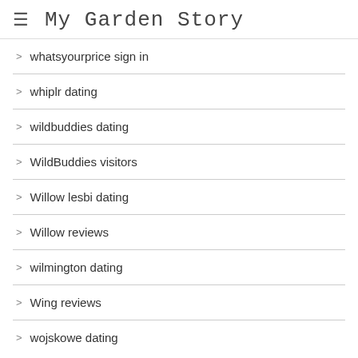My Garden Story
whatsyourprice sign in
whiplr dating
wildbuddies dating
WildBuddies visitors
Willow lesbi dating
Willow reviews
wilmington dating
Wing reviews
wojskowe dating